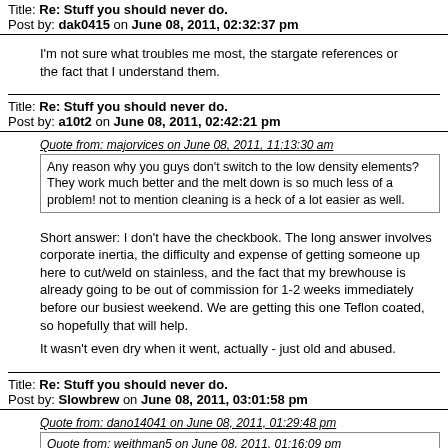Title: Re: Stuff you should never do.
Post by: dak0415 on June 08, 2011, 02:32:37 pm
I'm not sure what troubles me most, the stargate references or the fact that I understand them.
Title: Re: Stuff you should never do.
Post by: a10t2 on June 08, 2011, 02:42:21 pm
Quote from: majorvices on June 08, 2011, 11:13:30 am
Any reason why you guys don't switch to the low density elements? They work much better and the melt down is so much less of a problem! not to mention cleaning is a heck of a lot easier as well.
Short answer: I don't have the checkbook. The long answer involves corporate inertia, the difficulty and expense of getting someone up here to cut/weld on stainless, and the fact that my brewhouse is already going to be out of commission for 1-2 weeks immediately before our busiest weekend. We are getting this one Teflon coated, so hopefully that will help.
It wasn't even dry when it went, actually - just old and abused.
Title: Re: Stuff you should never do.
Post by: Slowbrew on June 08, 2011, 03:01:58 pm
Quote from: dano14041 on June 08, 2011, 01:29:48 pm
Quote from: weithman5 on June 08, 2011, 01:16:09 pm